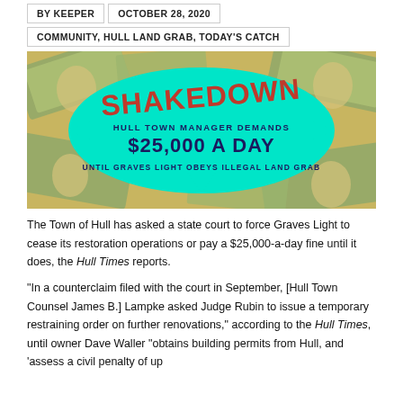BY KEEPER   OCTOBER 28, 2020
COMMUNITY, HULL LAND GRAB, TODAY'S CATCH
[Figure (infographic): SHAKEDOWN banner image with $100 bills background and teal splash. Text reads: SHAKEDOWN — HULL TOWN MANAGER DEMANDS $25,000 A DAY — UNTIL GRAVES LIGHT OBEYS ILLEGAL LAND GRAB]
The Town of Hull has asked a state court to force Graves Light to cease its restoration operations or pay a $25,000-a-day fine until it does, the Hull Times reports.
“In a counterclaim filed with the court in September, [Hull Town Counsel James B.] Lampke asked Judge Rubin to issue a temporary restraining order on further renovations,” according to the Hull Times, until owner Dave Waller “obtains building permits from Hull, and ‘assess a civil penalty of up